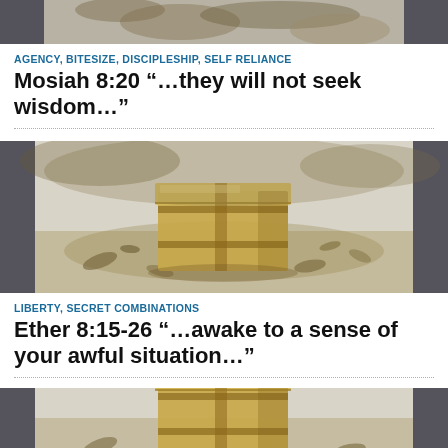[Figure (photo): Top partial view of a sepia-toned photograph, partially cropped at top of page]
AGENCY, BITESIZE, DISCIPLESHIP, SELF RELIANCE
Mosiah 8:20 “…they will not seek wisdom…”
[Figure (photo): Sepia-toned photograph of a wooden box or chest surrounded by leaves on the ground]
LIBERTY, SECRET COMBINATIONS
Ether 8:15-26 “…awake to a sense of your awful situation…”
[Figure (photo): Sepia-toned photograph of a wooden box or chest, same image as above, partially visible at bottom of page]